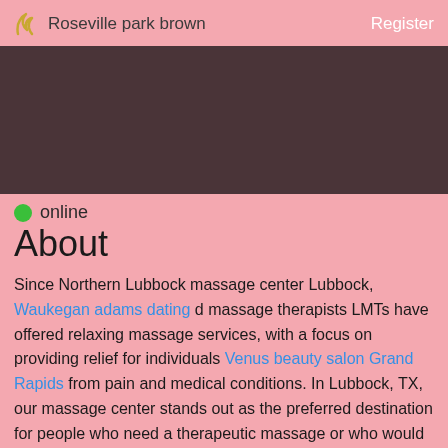Roseville park brown | Register
[Figure (photo): Dark brownish-maroon rectangular banner image placeholder]
online
About
Since Northern Lubbock massage center Lubbock, Waukegan adams dating d massage therapists LMTs have offered relaxing massage services, with a focus on providing relief for individuals Venus beauty salon Grand Rapids from pain and medical conditions. In Lubbock, TX, our massage center stands out as the preferred destination for people who need a therapeutic massage or who would like to obtain their massage. At our center, we